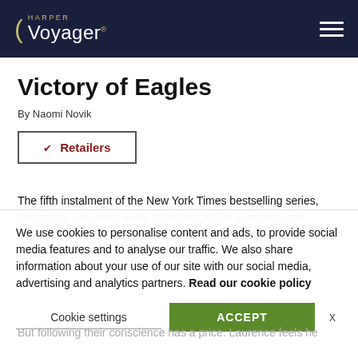Harper Voyager
Victory of Eagles
By Naomi Novik
Retailers
The fifth instalment of the New York Times bestselling series, Temeraire. Laurence waits to be hanged as a traitor to the Crown, and Temeraire is confined to the breeding grounds as
We use cookies to personalise content and ads, to provide social media features and to analyse our traffic. We also share information about your use of our site with our social media, advertising and analytics partners. Read our cookie policy
Cookie settings   ACCEPT   x
But following their conscience has a price. Laurence feels he